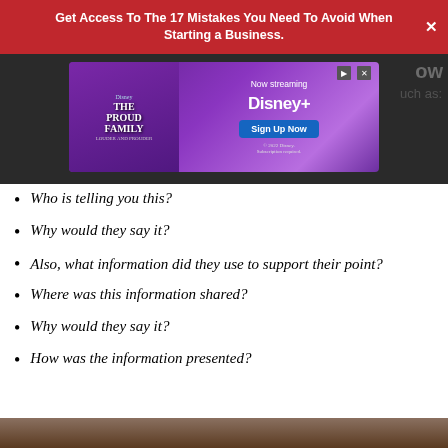Get Access To The 17 Mistakes You Need To Avoid When Starting a Business.
[Figure (screenshot): Disney+ The Proud Family advertisement banner with 'Now Streaming' and 'Sign Up Now' button on purple gradient background]
Who is telling you this?
Why would they say it?
Also, what information did they use to support their point?
Where was this information shared?
Why would they say it?
How was the information presented?